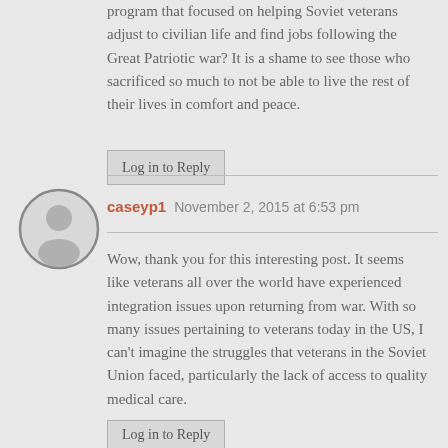program that focused on helping Soviet veterans adjust to civilian life and find jobs following the Great Patriotic war? It is a shame to see those who sacrificed so much to not be able to live the rest of their lives in comfort and peace.
Log in to Reply
caseyp1   November 2, 2015 at 6:53 pm
Wow, thank you for this interesting post. It seems like veterans all over the world have experienced integration issues upon returning from war. With so many issues pertaining to veterans today in the US, I can't imagine the struggles that veterans in the Soviet Union faced, particularly the lack of access to quality medical care.
Log in to Reply